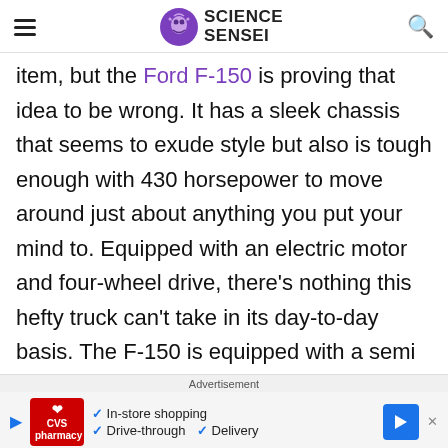Science Sensei
item, but the Ford F-150 is proving that idea to be wrong. It has a sleek chassis that seems to exude style but also is tough enough with 430 horsepower to move around just about anything you put your mind to. Equipped with an electric motor and four-wheel drive, there's nothing this hefty truck can't take in its day-to-day basis. The F-150 is equipped with a semi
Advertisement
[Figure (other): CVS Pharmacy advertisement banner showing in-store shopping, drive-through, and delivery options with a navigation arrow icon]